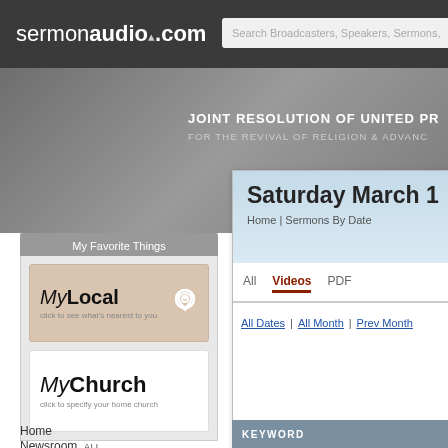sermonaudio.com | Search Broadcasters, Speakers, Sermons,
[Figure (screenshot): Banner area with text: JOINT RESOLUTION OF UNITED PR... / FOR THE REVIVAL OF RELIGION & ADVANC...]
My Favorite Things
[Figure (logo): MyLocal logo with pin icon and text: click to see what's nearest to you]
[Figure (logo): MyChurch logo with text: click to specify your home church]
Saturday March 1
Home | Sermons By Date
All | Videos | PDF
All Dates | All Month | Prev Month
KEYWORD
Home
Newsroom, ALL
Events | Notices | Blogs
Newest Audio | Video | Clips